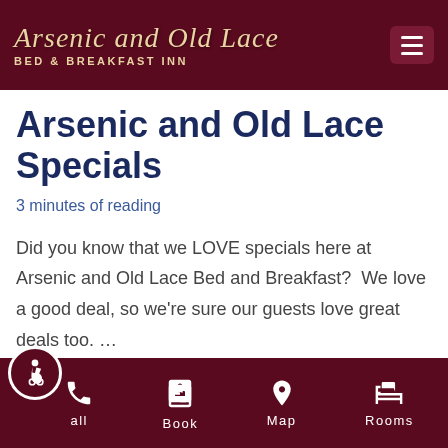Arsenic and Old Lace — BED & BREAKFAST INN
Arsenic and Old Lace Specials
3 minutes of reading
Did you know that we LOVE specials here at Arsenic and Old Lace Bed and Breakfast?  We love a good deal, so we're sure our guests love great deals too. …
Read More »
Call | Book | Map | Rooms